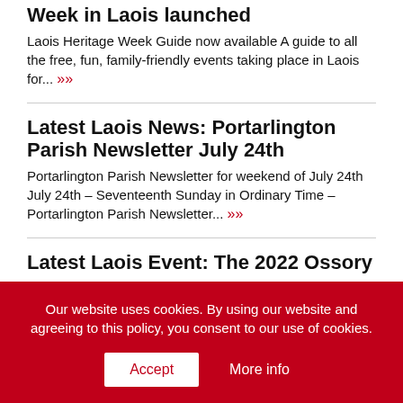Week in Laois launched
Laois Heritage Week Guide now available A guide to all the free, fun, family-friendly events taking place in Laois for... »
Latest Laois News: Portarlington Parish Newsletter July 24th
Portarlington Parish Newsletter for weekend of July 24th July 24th – Seventeenth Sunday in Ordinary Time – Portarlington Parish Newsletter... »
Latest Laois Event: The 2022 Ossory
Our website uses cookies. By using our website and agreeing to this policy, you consent to our use of cookies.